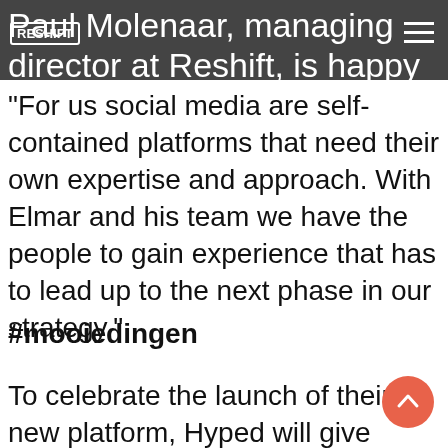Paul Molenaar, managing director at Reshift, is happy with the launch of the new brand.
“For us social media are self-contained platforms that need their own expertise and approach. With Elmar and his team we have the people to gain experience that has to lead up to the next phase in our strategy.”
#mooiedingen
To celebrate the launch of their new platform, Hyped will give away awesome